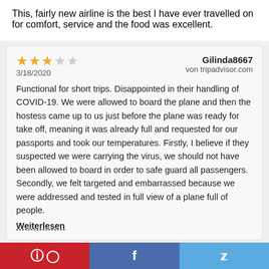This, fairly new airline is the best I have ever travelled on for comfort, service and the food was excellent.
★★★☆☆ Gilinda8667
3/18/2020 von tripadvisor.com
Functional for short trips. Disappointed in their handling of COVID-19. We were allowed to board the plane and then the hostess came up to us just before the plane was ready for take off, meaning it was already full and requested for our passports and took our temperatures. Firstly, I believe if they suspected we were carrying the virus, we should not have been allowed to board in order to safe guard all passengers. Secondly, we felt targeted and embarrassed because we were addressed and tested in full view of a plane full of people.
Weiterlesen
★★☆☆☆ C.Worbel